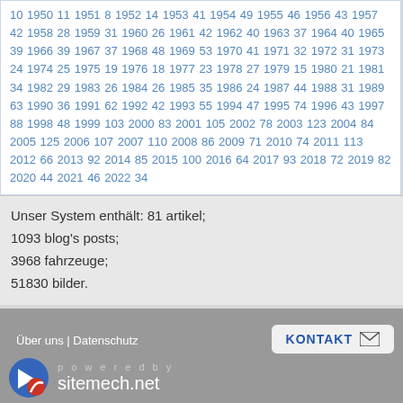10 1950 11 1951 8 1952 14 1953 41 1954 49 1955 46 1956 43 1957 42 1958 28 1959 31 1960 26 1961 42 1962 40 1963 37 1964 40 1965 39 1966 39 1967 37 1968 48 1969 53 1970 41 1971 32 1972 31 1973 24 1974 25 1975 19 1976 18 1977 23 1978 27 1979 15 1980 21 1981 34 1982 29 1983 26 1984 26 1985 35 1986 24 1987 44 1988 31 1989 63 1990 36 1991 62 1992 42 1993 55 1994 47 1995 74 1996 43 1997 88 1998 48 1999 103 2000 83 2001 105 2002 78 2003 123 2004 84 2005 125 2006 107 2007 110 2008 86 2009 71 2010 74 2011 113 2012 66 2013 92 2014 85 2015 100 2016 64 2017 93 2018 72 2019 82 2020 44 2021 46 2022 34
Unser System enthält: 81 artikel; 1093 blog's posts; 3968 fahrzeuge; 51830 bilder.
Über uns | Datenschutz
KONTAKT
powered by sitemech.net